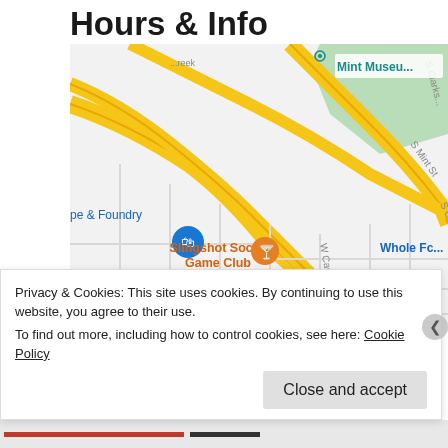Hours & Info
[Figure (map): Google Maps showing location near 1200 S. Graham St, Charlotte NC. Shows Slingshot Social Game Club marker, Midnight Diner, Mint Museum, Whole Foods, and major roads including S Clarkson St, S Mint St, S Church St, W Carson Blvd.]
1200 S. Graham St
Charlotte, NC 28203
704-269-8869
Privacy & Cookies: This site uses cookies. By continuing to use this website, you agree to their use.
To find out more, including how to control cookies, see here: Cookie Policy
Close and accept